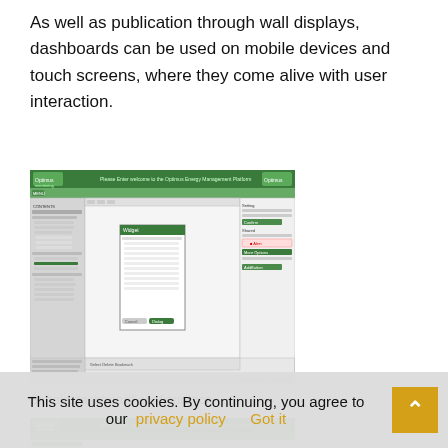As well as publication through wall displays, dashboards can be used on mobile devices and touch screens, where they come alive with user interaction.
[Figure (screenshot): Screenshot of an Optimus Monitoring dashboard configuration interface showing a web-based management platform with a navigation tree on the left, a central canvas area with a dialog/widget panel open, and a settings panel on the right.]
Simple dashboard configuration
[Figure (screenshot): Partial screenshot of another Optimus Monitoring dashboard configuration view, partially obscured by the cookie consent bar.]
This site uses cookies. By continuing, you agree to our privacy policy  Got it